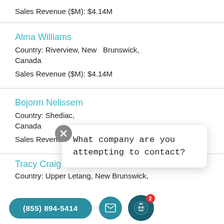Sales Revenue ($M): $4.14M
Alma Williams
Country: Riverview, New  Brunswick, Canada
Sales Revenue ($M): $4.14M
Bojorm Nelissem
Country: Shediac, Canada
Sales Revenue ($M): $4.14M
[Figure (screenshot): Chat widget overlay with close button (X) and message 'What company are you attempting to contact?', phone button '(855) 894-5414', email icon button, and chatbot icon with badge showing 2]
Tracy Craig
Country: Upper Letang, New Brunswick,